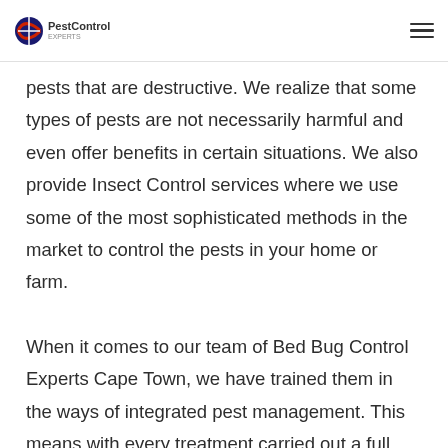PestControl
pests that are destructive. We realize that some types of pests are not necessarily harmful and even offer benefits in certain situations. We also provide Insect Control services where we use some of the most sophisticated methods in the market to control the pests in your home or farm.
When it comes to our team of Bed Bug Control Experts Cape Town, we have trained them in the ways of integrated pest management. This means with every treatment carried out a full inspection of